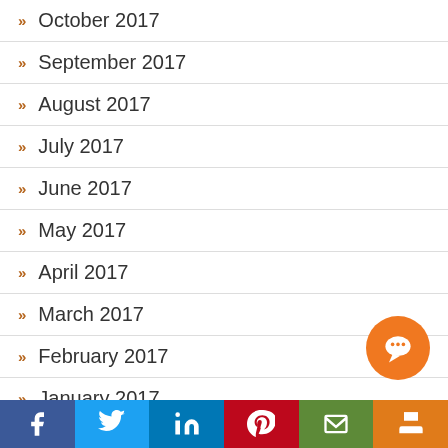October 2017
September 2017
August 2017
July 2017
June 2017
May 2017
April 2017
March 2017
February 2017
January 2017
December 2016
November 2016
October 2016